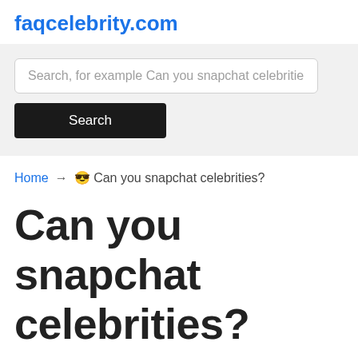faqcelebrity.com
Search, for example Can you snapchat celebrities
Search
Home → 😎 Can you snapchat celebrities?
Can you snapchat celebrities?